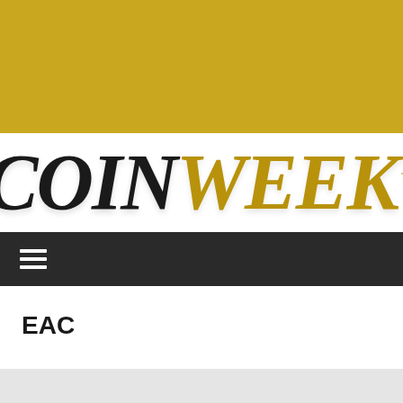[Figure (logo): Gold/yellow banner background at top of page]
COINWEEK™
[Figure (other): Dark navigation bar with hamburger menu icon (three horizontal lines)]
EAC